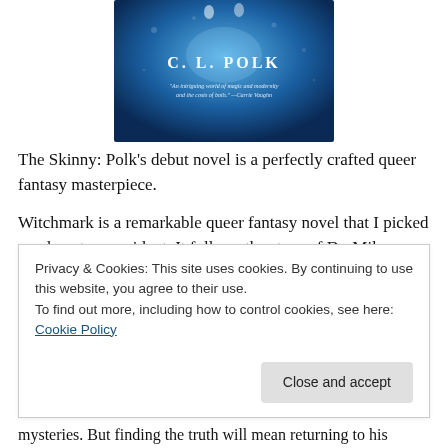[Figure (illustration): Book cover of 'Witchmark' by C. L. Polk — blue underwater or sky background with figures and author name text, with a pull quote]
The Skinny: Polk's debut novel is a perfectly crafted queer fantasy masterpiece.
Witchmark is a remarkable queer fantasy novel that I picked up almost on accident. It follows the story of Dr. Miles Singer, a psychiatrist (and secretly, a magician) in the country of Aeland. Aeland recently won a war with
Privacy & Cookies: This site uses cookies. By continuing to use this website, you agree to their use.
To find out more, including how to control cookies, see here: Cookie Policy
mysteries. But finding the truth will mean returning to his